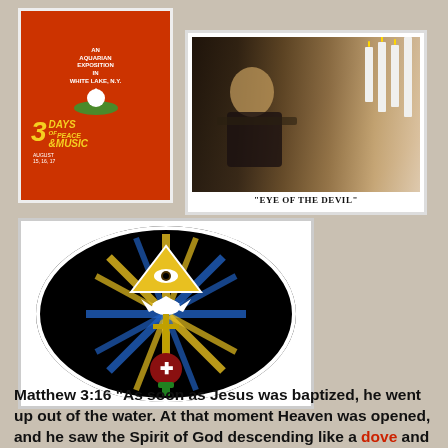[Figure (illustration): Woodstock music festival poster: red background with white bird on guitar neck, text reads AN AQUARIAN EXPOSITION IN WHITE LAKE, N.Y., 3 DAYS OF PEACE & MUSIC, AUGUST 15, 16, 17]
[Figure (photo): Eye of the Devil movie lobby card: blonde woman in black holding a gun, with white candles and robed figures in dark background. Caption reads: EYE OF THE DEVIL]
[Figure (illustration): Rosicrucian or esoteric emblem: oval/vesica piscis shape on black background with all-seeing eye in triangle, dove, rays of light in blue and yellow, and a red cross with rose at bottom]
Matthew 3:16 "As soon as Jesus was baptized, he went up out of the water. At that moment Heaven was opened, and he saw the Spirit of God descending like a dove and lighting on him."